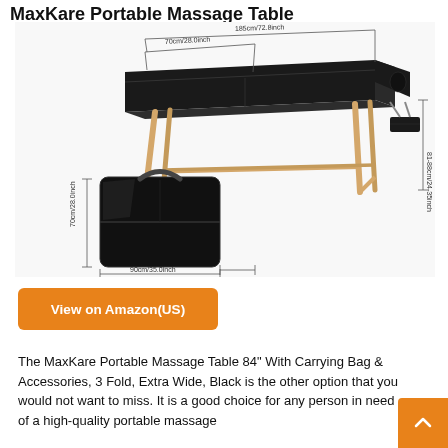MaxKare Portable Massage Table
[Figure (photo): Product image of MaxKare Portable Massage Table showing dimensions: 185cm/72.8inch length, 70cm/28.0inch width, 81-88cm/24-35inch height (table); carrying bag dimensions: 90cm/35.0inch x 70cm/28.0inch x 17cm/6.7inch]
View on Amazon(US)
The MaxKare Portable Massage Table 84" With Carrying Bag & Accessories, 3 Fold, Extra Wide, Black is the other option that you would not want to miss. It is a good choice for any person in need of a high-quality portable massage